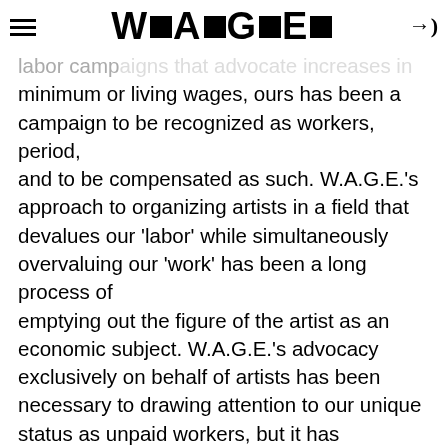W■A■G■E■
labor campaigns that advocate increases in minimum or living wages, ours has been a campaign to be recognized as workers, period, and to be compensated as such. W.A.G.E.'s approach to organizing artists in a field that devalues our 'labor' while simultaneously overvaluing our 'work' has been a long process of emptying out the figure of the artist as an economic subject. W.A.G.E.'s advocacy exclusively on behalf of artists has been necessary to drawing attention to our unique status as unpaid workers, but it has produced a profound paradox: by excluding other supply chain workers from our campaign we have effectively re-asserted our own exceptionality and called into question any commonality our labor might have with others. Furthermore, at the precise moment we seem to have arrived at the realization of our goal, artist compensation feels like the least urgent ground for political